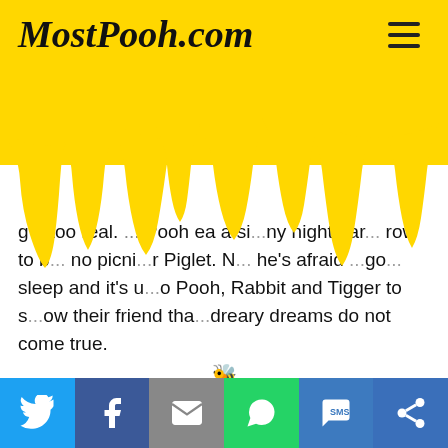MostPooh.com
[Figure (illustration): Honey dripping effect in golden yellow covering the top portion of the page]
g e too real. Pooh has a sicky nightmare row to be no picni r Piglet. N he's afraid go sleep and it's u o Pooh, Rabbit and Tigger to s ow their friend tha dreary dreams do not come true.
[Figure (photo): Disney Winnie the Pooh Seasons of Giving DVD cover showing Tigger in winter hat]
[Figure (infographic): Social sharing bar with Twitter, Facebook, Email, WhatsApp, SMS, and Copy Link buttons]